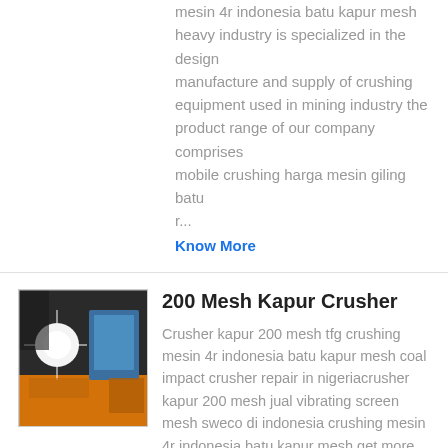mesin 4r indonesia batu kapur mesh heavy industry is specialized in the design manufacture and supply of crushing equipment used in mining industry the product range of our company comprises mobile crushing harga mesin giling batu r...
Know More
200 Mesh Kapur Crusher
[Figure (photo): Industrial machinery photo showing equipment with bright light source, yellow/orange equipment visible]
Crusher kapur 200 mesh tfg crushing mesin 4r indonesia batu kapur mesh coal impact crusher repair in nigeriacrusher kapur 200 mesh jual vibrating screen mesh sweco di indonesia crushing mesin 4r indonesia batu kapur mesh get more info image coal mill mesh size new york public school jaw crushers 100 200 mesh nkozihom...
Know More
[Figure (photo): Thumbnail image of machinery/equipment, partially visible at bottom]
Daftar Harga Mesin Crusher...